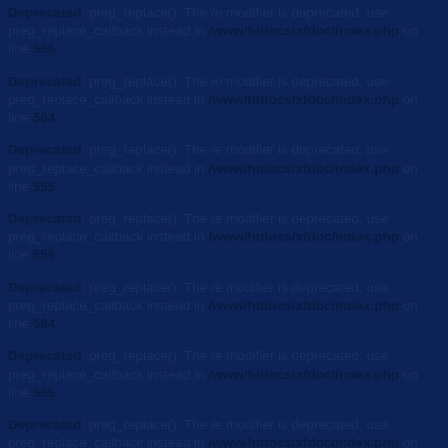Deprecated: preg_replace(): The /e modifier is deprecated, use preg_replace_callback instead in /www/htdocs/xfdoc/index.php on line 556
Deprecated: preg_replace(): The /e modifier is deprecated, use preg_replace_callback instead in /www/htdocs/xfdoc/index.php on line 564
Deprecated: preg_replace(): The /e modifier is deprecated, use preg_replace_callback instead in /www/htdocs/xfdoc/index.php on line 555
Deprecated: preg_replace(): The /e modifier is deprecated, use preg_replace_callback instead in /www/htdocs/xfdoc/index.php on line 556
Deprecated: preg_replace(): The /e modifier is deprecated, use preg_replace_callback instead in /www/htdocs/xfdoc/index.php on line 564
Deprecated: preg_replace(): The /e modifier is deprecated, use preg_replace_callback instead in /www/htdocs/xfdoc/index.php on line 555
Deprecated: preg_replace(): The /e modifier is deprecated, use preg_replace_callback instead in /www/htdocs/xfdoc/index.php on line 556
Deprecated: preg_replace(): The /e modifier is deprecated, use preg_replace_callback instead in /www/htdocs/xfdoc/index.php on line 564